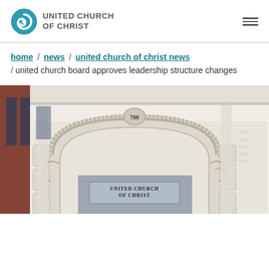[Figure (logo): United Church of Christ logo — blue swirl circle with text UNITED CHURCH OF CHRIST]
home / news / united church of christ news / united church board approves leadership structure changes
[Figure (photo): Exterior of United Church of Christ building, showing ornate white stone arch entrance with '700' medallion and a sign reading 'United Church of Christ']